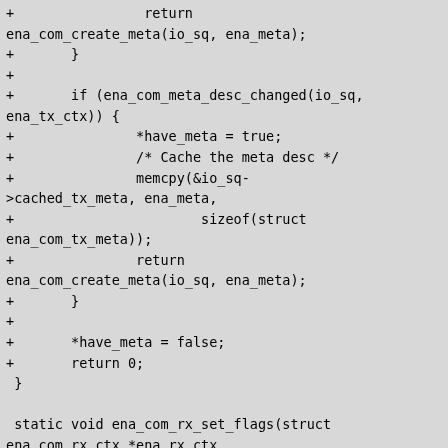+                return
ena_com_create_meta(io_sq, ena_meta);
+       }
+
+       if (ena_com_meta_desc_changed(io_sq,
ena_tx_ctx)) {
+               *have_meta = true;
+               /* Cache the meta desc */
+               memcpy(&io_sq-
>cached_tx_meta, ena_meta,
+                       sizeof(struct
ena_com_tx_meta));
+               return
ena_com_create_meta(io_sq, ena_meta);
+       }
+
+       *have_meta = false;
+       return 0;
 }

 static void ena_com_rx_set_flags(struct
ena_com_rx_ctx *ena_rx_ctx,
@@ -402,12 +425,10 @@ int
ena_com_prepare_tx(struct ena_com_io_sq
*io_sq,
        if (unlikely(rc))